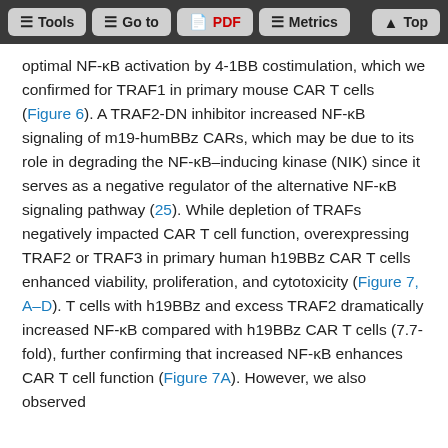Tools | Go to | PDF | Metrics | Top
optimal NF-κB activation by 4-1BB costimulation, which we confirmed for TRAF1 in primary mouse CAR T cells (Figure 6). A TRAF2-DN inhibitor increased NF-κB signaling of m19-humBBz CARs, which may be due to its role in degrading the NF-κB–inducing kinase (NIK) since it serves as a negative regulator of the alternative NF-κB signaling pathway (25). While depletion of TRAFs negatively impacted CAR T cell function, overexpressing TRAF2 or TRAF3 in primary human h19BBz CAR T cells enhanced viability, proliferation, and cytotoxicity (Figure 7, A–D). T cells with h19BBz and excess TRAF2 dramatically increased NF-κB compared with h19BBz CAR T cells (7.7-fold), further confirming that increased NF-κB enhances CAR T cell function (Figure 7A). However, we also observed